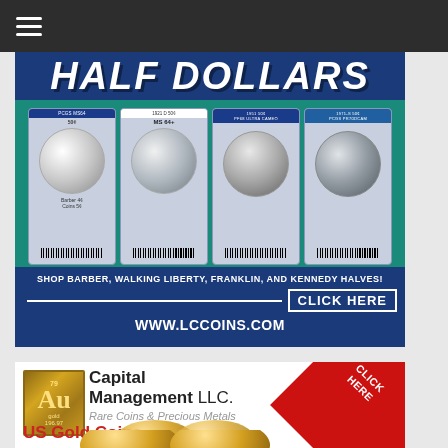[Figure (illustration): Navigation bar with hamburger menu icon on dark background]
[Figure (illustration): Advertisement banner for LC Coins half dollars, showing graded coin slabs (Barber, Walking Liberty, Franklin, Kennedy halves), teal/blue background, text: HALF DOLLARS, SHOP BARBER, WALKING LIBERTY, FRANKLIN, AND KENNEDY HALVES!, CLICK HERE, WWW.LCCOINS.COM]
[Figure (illustration): Advertisement for Au Capital Management LLC. Rare Coins & Precious Metals, US Gold Coins, with red CLICK HERE ribbon banner and gold element logo, with gold coins visible at bottom]